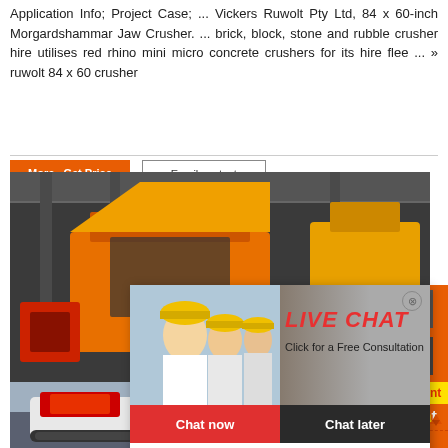Application Info; Project Case; ... Vickers Ruwolt Pty Ltd, 84 x 60-inch Morgardshammar Jaw Crusher. ... brick, block, stone and rubble crusher hire utilises red rhino mini micro concrete crushers for its hire flee ... » ruwolt 84 x 60 crusher
[Figure (photo): Industrial jaw crusher machine in a warehouse/factory setting, orange and yellow colored machinery]
[Figure (screenshot): Live chat popup overlay with smiling person in hard hat, 'LIVE CHAT' text in red, 'Click for a Free Consultation' subtitle, Chat now and Chat later buttons]
[Figure (photo): Mobile crusher machine on tracks, white and grey, parked outdoors]
[Figure (infographic): Orange sidebar with small crusher machine images]
Enjoy 3% discount
Click to Chat
Enquiry